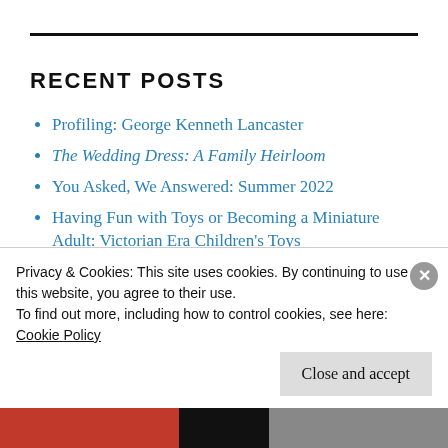RECENT POSTS
Profiling: George Kenneth Lancaster
The Wedding Dress: A Family Heirloom
You Asked, We Answered: Summer 2022
Having Fun with Toys or Becoming a Miniature Adult: Victorian Era Children's Toys
The Month That Was – August 1922
Privacy & Cookies: This site uses cookies. By continuing to use this website, you agree to their use.
To find out more, including how to control cookies, see here:
Cookie Policy
Close and accept